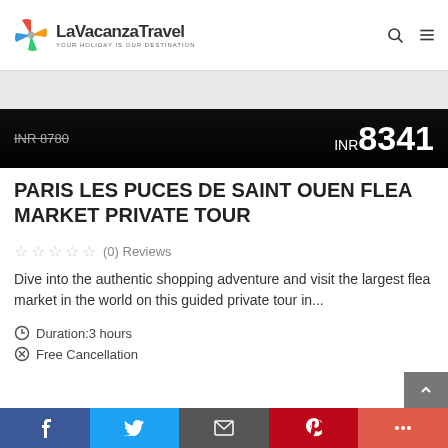[Figure (logo): LaVacanzaTravel logo with colorful windmill/pinwheel icon and tagline YOUR HOLIDAY IS OUR DESTINATION]
INR 8780 (strikethrough) INR 8341
PARIS LES PUCES DE SAINT OUEN FLEA MARKET PRIVATE TOUR
☆ ☆ ☆ ☆ ☆ (0) Reviews
Dive into the authentic shopping adventure and visit the largest flea market in the world on this guided private tour in...
Duration: 3 hours
Free Cancellation